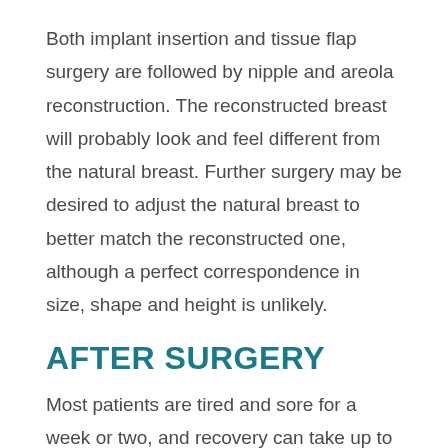Both implant insertion and tissue flap surgery are followed by nipple and areola reconstruction. The reconstructed breast will probably look and feel different from the natural breast. Further surgery may be desired to adjust the natural breast to better match the reconstructed one, although a perfect correspondence in size, shape and height is unlikely.
AFTER SURGERY
Most patients are tired and sore for a week or two, and recovery can take up to six weeks, but you will be released from the hospital in two to five days. Stitches are taken out in a week to ten days. A surgical drain may be left in place to prevent a build-up of fluid in the